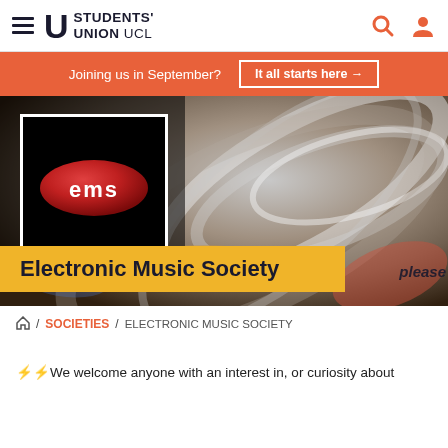Students' Union UCL
Joining us in September? It all starts here →
[Figure (screenshot): Hero banner showing Electronic Music Society logo (red oval with white EMS text on black background) overlaid on a swirling abstract colorful background image.]
Electronic Music Society
🏠 / SOCIETIES / ELECTRONIC MUSIC SOCIETY
⚡⚡We welcome anyone with an interest in, or curiosity about